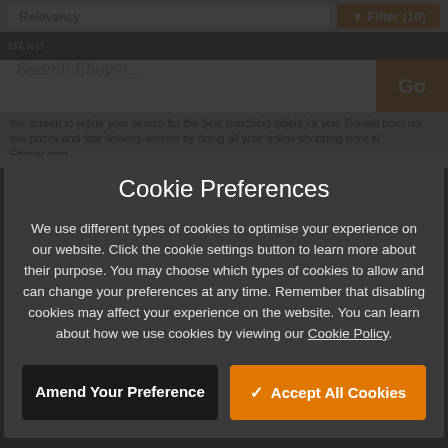[Figure (screenshot): Ebuyer website UI showing sort/filter bar, menu bar, search bar, and partial product description text in the background]
Cookie Preferences
We use different types of cookies to optimise your experience on our website. Click the cookie settings button to learn more about their purpose. You may choose which types of cookies to allow and can change your preferences at any time. Remember that disabling cookies may affect your experience on the website. You can learn about how we use cookies by viewing our Cookie Policy.
Amend Your Preference
✓ Accept All Cookies